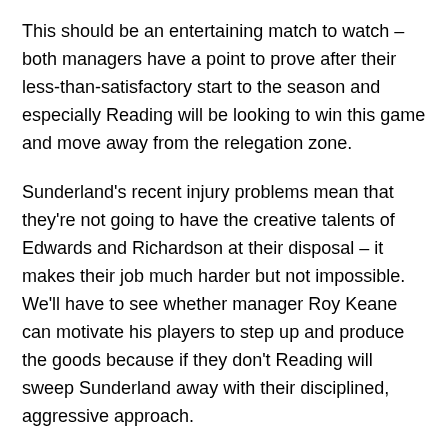This should be an entertaining match to watch – both managers have a point to prove after their less-than-satisfactory start to the season and especially Reading will be looking to win this game and move away from the relegation zone.
Sunderland's recent injury problems mean that they're not going to have the creative talents of Edwards and Richardson at their disposal – it makes their job much harder but not impossible. We'll have to see whether manager Roy Keane can motivate his players to step up and produce the goods because if they don't Reading will sweep Sunderland away with their disciplined, aggressive approach.
Sunderland haven't scored in the last 4 games, and Reading's goalscoring record this season isn't something to